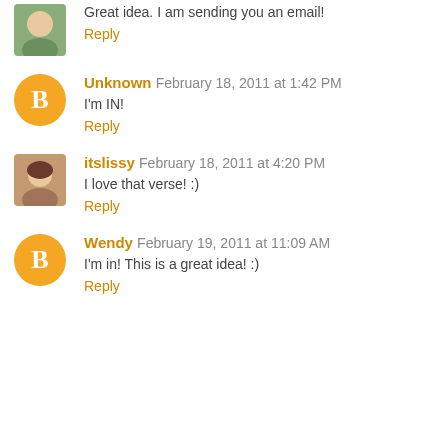Great idea. I am sending you an email!
Reply
Unknown February 18, 2011 at 1:42 PM
I'm IN!
Reply
itslissy February 18, 2011 at 4:20 PM
I love that verse! :)
Reply
Wendy February 19, 2011 at 11:09 AM
I'm in! This is a great idea! :)
Reply